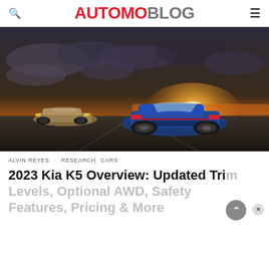AUTOMOBLOG
[Figure (photo): Two Kia K5 sedans on a tarmac at sunset — a blue model in the foreground facing away from camera and a gold/silver model behind it, dramatic cloudy sky with orange sunset glow on the horizon]
ALVIN REYES · RESEARCH CARS
2023 Kia K5 Overview: Updated Trim Levels, Optional AWD, Safety Features, Pricing & More